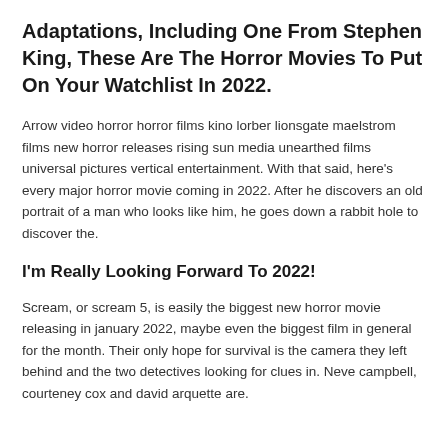Adaptations, Including One From Stephen King, These Are The Horror Movies To Put On Your Watchlist In 2022.
Arrow video horror horror films kino lorber lionsgate maelstrom films new horror releases rising sun media unearthed films universal pictures vertical entertainment. With that said, here's every major horror movie coming in 2022. After he discovers an old portrait of a man who looks like him, he goes down a rabbit hole to discover the.
I'm Really Looking Forward To 2022!
Scream, or scream 5, is easily the biggest new horror movie releasing in january 2022, maybe even the biggest film in general for the month. Their only hope for survival is the camera they left behind and the two detectives looking for clues in. Neve campbell, courteney cox and david arquette are.